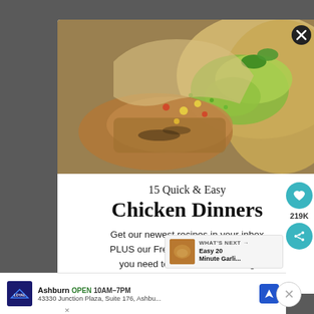[Figure (photo): Close-up photo of chicken tacos with avocado, corn salsa, and fresh toppings in flour tortillas]
15 Quick & Easy Chicken Dinners
Get our newest recipes in your inbox PLUS our Free E-Book with everything you need to know about cooking Chicken confidently!
[Figure (infographic): What's Next panel showing Easy 20 Minute Garli... with thumbnail]
Ashburn OPEN 10AM–7PM 43330 Junction Plaza, Suite 176, Ashbu...